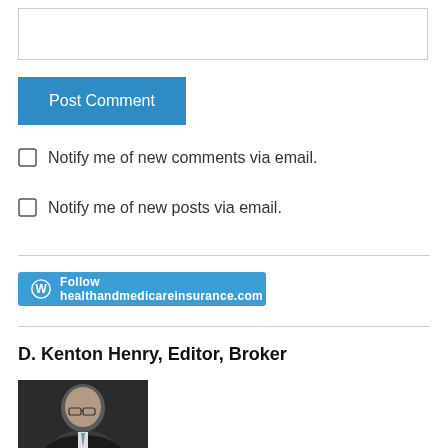[Figure (other): Text input textarea box (comment field)]
Post Comment
Notify me of new comments via email.
Notify me of new posts via email.
[Figure (other): Follow healthandmedicareinsurance.com WordPress follow button]
D. Kenton Henry, Editor, Broker
[Figure (photo): Portrait photo of D. Kenton Henry, a middle-aged man with glasses wearing a dark suit]